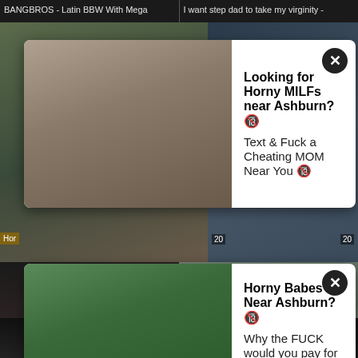BANGBROS - Latin BBW With Mega
I want step dad to take my virginity -
[Figure (screenshot): Ad overlay: Looking for Horny MILFs near Ashburn? Text & Fuck a Cheating MOM Near You]
[Figure (screenshot): Ad overlay: Horny Babes Near Ashburn? Why the FUCK would you pay for SEX?]
[Figure (photo): Video thumbnail: Doggystyled milf shares cock with, date 2020-10-10, duration 9:15]
Doggystyled milf shares cock with
[Figure (photo): Video thumbnail: Katja reitet die Orgasmusmaschine Katja, date 2020-10-10, duration 22:04]
Katja reitet die Orgasmusmaschine Katja
[Figure (photo): Video thumbnail bottom left, partial view]
[Figure (photo): Video thumbnail bottom right, partial view]